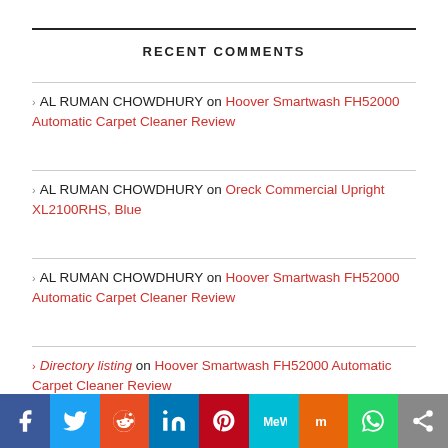RECENT COMMENTS
AL RUMAN CHOWDHURY on Hoover Smartwash FH52000 Automatic Carpet Cleaner Review
AL RUMAN CHOWDHURY on Oreck Commercial Upright XL2100RHS, Blue
AL RUMAN CHOWDHURY on Hoover Smartwash FH52000 Automatic Carpet Cleaner Review
Directory listing on Hoover Smartwash FH52000 Automatic Carpet Cleaner Review
[Figure (infographic): Social sharing buttons bar: Facebook, Twitter, Reddit, LinkedIn, Pinterest, MeWe, Mix, WhatsApp, Share]